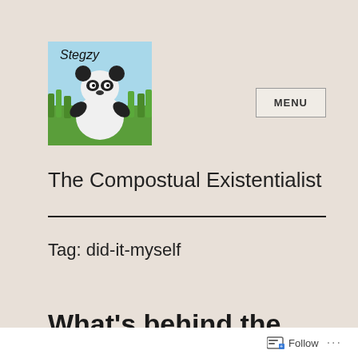[Figure (photo): Blog logo image showing a panda toy/stuffed animal in green grass with text 'Stegzy' handwritten at top]
The Compostual Existentialist
Tag: did-it-myself
What's behind the door?
Follow ...